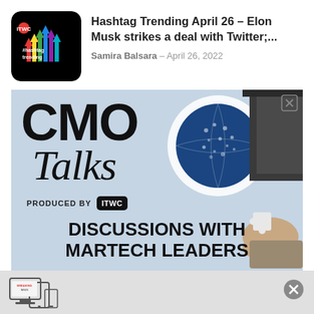[Figure (logo): Hashtag Trending podcast thumbnail - black background with colorful upward arrows and #hashtag trending text]
Hashtag Trending April 26 – Elon Musk strikes a deal with Twitter;...
Samira Balsara - April 26, 2022
[Figure (illustration): CMO Talks advertisement banner - light blue background with CMO Talks logo, globe, hands with puzzle pieces, PRODUCED BY ITWC, DISCUSSIONS WITH MARTECH LEADERS, SUBSCRIBE text]
[Figure (illustration): Bottom notification bar with device/news icon and close button]